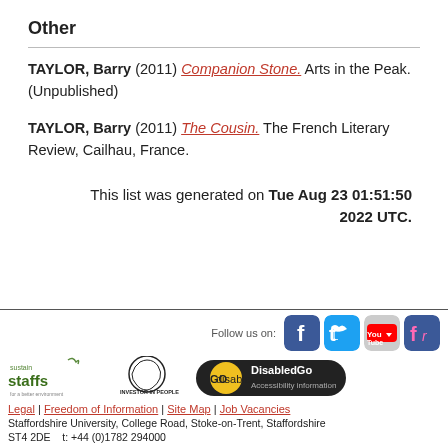Other
TAYLOR, Barry (2011) Companion Stone. Arts in the Peak. (Unpublished)
TAYLOR, Barry (2011) The Cousin. The French Literary Review, Cailhau, France.
This list was generated on Tue Aug 23 01:51:50 2022 UTC.
[Figure (logo): Social media icons: Facebook, Twitter, YouTube, Friendfeed. Follow us on: label.]
[Figure (logo): Sustain Staffs logo, Investor in People logo, DisabledGo Accessibility information logo]
Legal | Freedom of Information | Site Map | Job Vacancies
Staffordshire University, College Road, Stoke-on-Trent, Staffordshire ST4 2DE    t: +44 (0)1782 294000